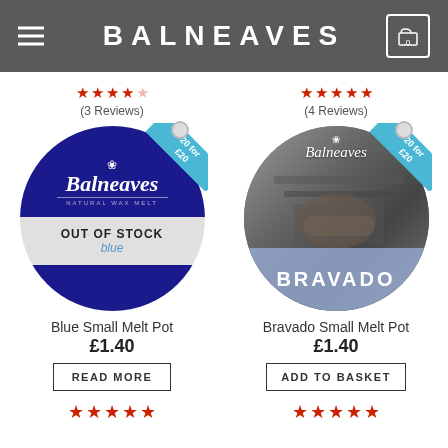BALNEAVES
(3 Reviews)
(4 Reviews)
[Figure (photo): Balneaves Blue Natural Wax Melt circular product shot with OUT OF STOCK overlay and '20 for £20' ribbon tag]
[Figure (photo): Balneaves Bravado Small Melt Pot circular product shot showing armored hands on a sword hilt with '20 for £20' ribbon tag]
Blue Small Melt Pot
£1.40
READ MORE
Bravado Small Melt Pot
£1.40
ADD TO BASKET